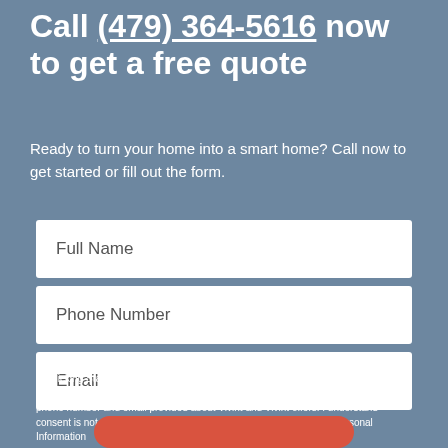Call (479) 364-5616 now to get a free quote
Ready to turn your home into a smart home? Call now to get started or fill out the form.
Full Name
Phone Number
Email
By clicking Start Your Quote, I consent to Vivint's use of automated dialing technology, prerecorded/artificial voice, email, or text messaging to contact me at the phone number and email provided about Vivint and Vivint offers. I understand consent is not required to purchase. CA Residents: Do Not Sell My Personal Information